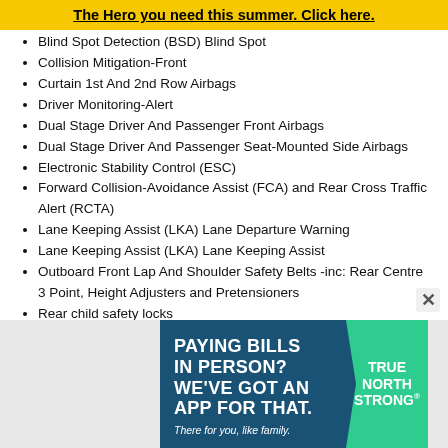The Hero you need this summer. Click here.
Blind Spot Detection (BSD) Blind Spot
Collision Mitigation-Front
Curtain 1st And 2nd Row Airbags
Driver Monitoring-Alert
Dual Stage Driver And Passenger Front Airbags
Dual Stage Driver And Passenger Seat-Mounted Side Airbags
Electronic Stability Control (ESC)
Forward Collision-Avoidance Assist (FCA) and Rear Cross Traffic Alert (RCTA)
Lane Keeping Assist (LKA) Lane Departure Warning
Lane Keeping Assist (LKA) Lane Keeping Assist
Outboard Front Lap And Shoulder Safety Belts -inc: Rear Centre 3 Point, Height Adjusters and Pretensioners
Rear child safety locks
Side Impact Beams
[Figure (infographic): Advertisement banner: PAYING BILLS IN PERSON? WE'VE GOT AN APP FOR THAT. There for you, like family. TRUE NORTH STRONG logo on teal ribbon.]